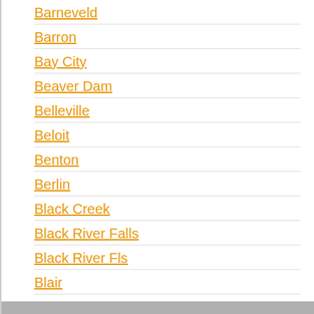Barneveld
Barron
Bay City
Beaver Dam
Belleville
Beloit
Benton
Berlin
Black Creek
Black River Falls
Black River Fls
Blair
Blanchardville
Bloomer
Bloomington
Bonduel
Boscobel